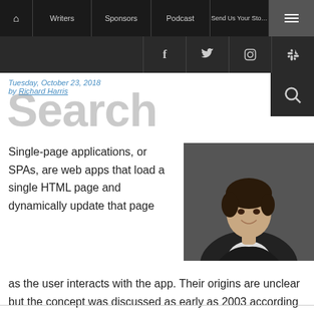Home | Writers | Sponsors | Podcast | Send Us Your Story | Menu
Facebook | Twitter | Instagram | RSS
Search
Tuesday, October 23, 2018
by Richard Harris
[Figure (photo): Portrait photo of Richard Harris, a smiling person wearing a dark jacket over a white collared shirt, photographed from chest up against a dark background]
Single-page applications, or SPAs, are web apps that load a single HTML page and dynamically update that page as the user interacts with the app. Their origins are unclear but the concept was discussed as early as 2003 according to the archives on Wiki. SPAs use AJAX and HTML5 to create fluid and responsive Web apps, without constant page reloads - that literally means,...